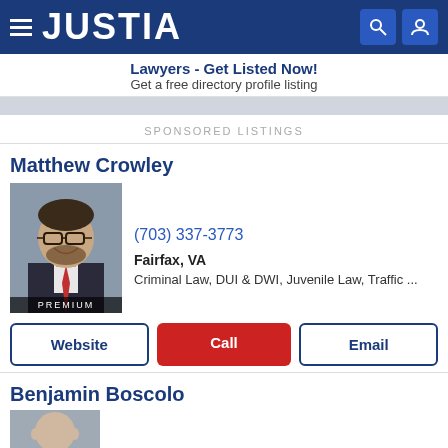JUSTIA
Lawyers - Get Listed Now!
Get a free directory profile listing
SPONSORED LISTINGS
Matthew Crowley
(703) 337-3773
Fairfax, VA
Criminal Law, DUI & DWI, Juvenile Law, Traffic ...
PREMIUM
Website
Call
Email
Benjamin Boscolo